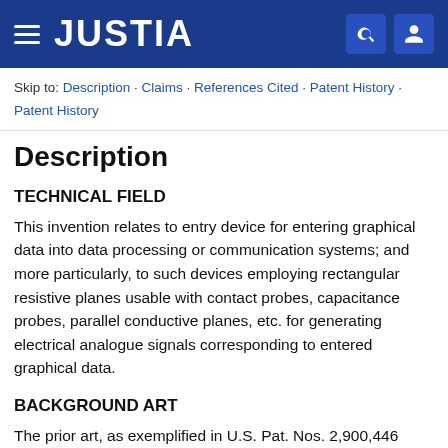JUSTIA
Skip to: Description · Claims · References Cited · Patent History · Patent History
Description
TECHNICAL FIELD
This invention relates to entry device for entering graphical data into data processing or communication systems; and more particularly, to such devices employing rectangular resistive planes usable with contact probes, capacitance probes, parallel conductive planes, etc. for generating electrical analogue signals corresponding to entered graphical data.
BACKGROUND ART
The prior art, as exemplified in U.S. Pat. Nos. 2,900,446